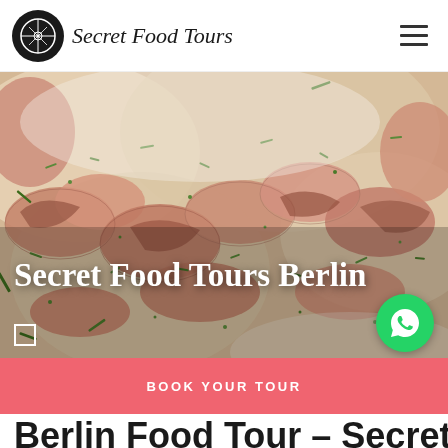Secret Food Tours
[Figure (photo): Close-up photo of German open-faced sandwich with cured pork/ham pieces and green chives on bread]
Secret Food Tours Berlin
BOOK YOUR TOUR
Berlin Food Tour – Secret